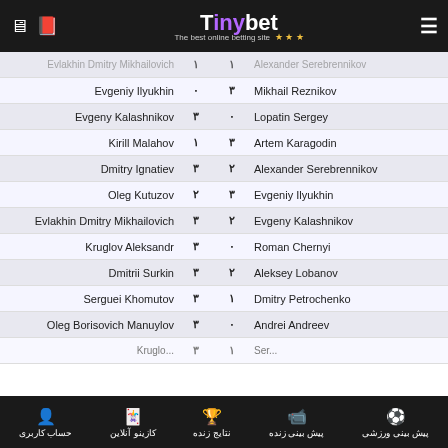Tinybet
| Player 1 | Score 1 | Score 2 | Player 2 |
| --- | --- | --- | --- |
| Evlakhin Dmitry Mikhailovich | ۱ | ۱ | Alexander Serebrennikov |
| Evgeniy Ilyukhin | ۰ | ۳ | Mikhail Reznikov |
| Evgeny Kalashnikov | ۳ | ۰ | Lopatin Sergey |
| Kirill Malahov | ۱ | ۳ | Artem Karagodin |
| Dmitry Ignatiev | ۳ | ۲ | Alexander Serebrennikov |
| Oleg Kutuzov | ۲ | ۳ | Evgeniy Ilyukhin |
| Evlakhin Dmitry Mikhailovich | ۳ | ۲ | Evgeny Kalashnikov |
| Kruglov Aleksandr | ۳ | ۰ | Roman Chernyi |
| Dmitrii Surkin | ۳ | ۲ | Aleksey Lobanov |
| Serguei Khomutov | ۳ | ۱ | Dmitry Petrochenko |
| Oleg Borisovich Manuylov | ۳ | ۰ | Andrei Andreev |
حساب کاربری | کازینو آنلاین | نتایج زنده | پیش بینی زنده | پیش بینی ورزشی